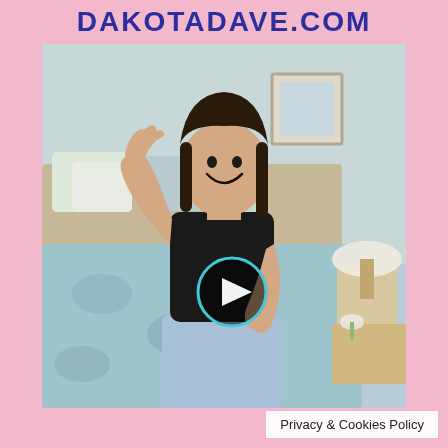DAKOTADAVE.COM
[Figure (photo): A smiling young woman with dark hair, wearing a black crop top and light blue ripped jeans, waving her hand near a bedroom with blue floral bedding, pillows, and a lamp on a nightstand. A video play button overlay is visible on her torso.]
Privacy & Cookies Policy